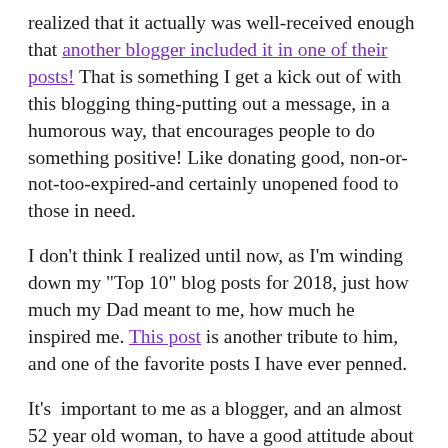realized that it actually was well-received enough that another blogger included it in one of their posts! That is something I get a kick out of with this blogging thing-putting out a message, in a humorous way, that encourages people to do something positive! Like donating good, non-or-not-too-expired-and certainly unopened food to those in need.
I don't think I realized until now, as I'm winding down my "Top 10" blog posts for 2018, just how much my Dad meant to me, how much he inspired me. This post is another tribute to him, and one of the favorite posts I have ever penned.
It's  important to me as a blogger, and an almost 52 year old woman, to have a good attitude about aging. To be real about it and embrace it. To not let your age put limits on life's pursuits, whether it be re: your career, your hobbies, your sex life, the way you dress, whatever it is. That's why I wrote this post about the women I know who inspire me on the daily.